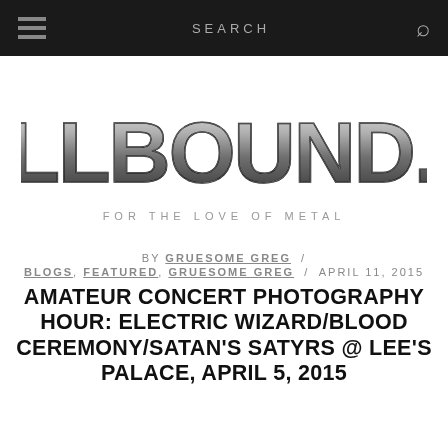[Figure (screenshot): Navigation bar with hamburger menu on left, SEARCH text in center, and magnifying glass icon on right, dark background]
[Figure (logo): HELLBOUND.CA logo in large metallic/dark stylized heavy metal font]
FOR THE LOVE OF METAL
BY GRUESOME GREG / BLOGS, FEATURED, GRUESOME GREG / APRIL 11, 2015
AMATEUR CONCERT PHOTOGRAPHY HOUR: ELECTRIC WIZARD/BLOOD CEREMONY/SATAN'S SATYRS @ LEE'S PALACE, APRIL 5, 2015